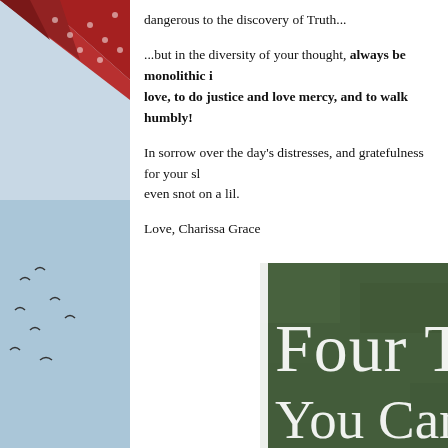[Figure (photo): Left side photo collage with decorative red/pink fabric at top and blue sky with birds at bottom]
dangerous to the discovery of Truth...
...but in the diversity of your thought, always be monolithic in love, to do justice and love mercy, and to walk humbly!
In sorrow over the day's distresses, and gratefulness for your sl even snot on a lil.
Love, Charissa Grace
[Figure (photo): Book cover with dark green textured background showing large white serif text reading 'Four Thi... You Can't Rec...']